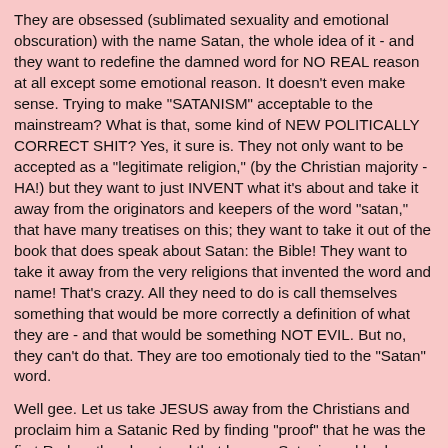They are obsessed (sublimated sexuality and emotional obscuration) with the name Satan, the whole idea of it - and they want to redefine the damned word for NO REAL reason at all except some emotional reason. It doesn't even make sense. Trying to make "SATANISM" acceptable to the mainstream? What is that, some kind of NEW POLITICALLY CORRECT SHIT? Yes, it sure is. They not only want to be accepted as a "legitimate religion," (by the Christian majority - HA!) but they want to just INVENT what it's about and take it away from the originators and keepers of the word "satan," that have many treatises on this; they want to take it out of the book that does speak about Satan: the Bible! They want to take it away from the very religions that invented the word and name! That's crazy. All they need to do is call themselves something that would be more correctly a definition of what they are - and that would be something NOT EVIL. But no, they can't do that. They are too emotionaly tied to the "Satan" word.
Well gee. Let us take JESUS away from the Christians and proclaim him a Satanic Red by finding "proof" that he was the first Red on the planet and that he was Satanic and had magical powers to boot! Jesus was a real Black Magician. I may as well PROCLAIM that.